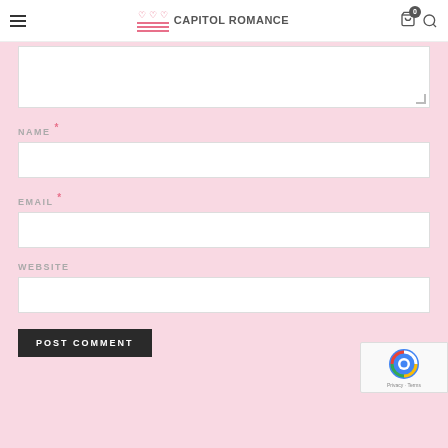Capitol Romance
NAME *
EMAIL *
WEBSITE
POST COMMENT